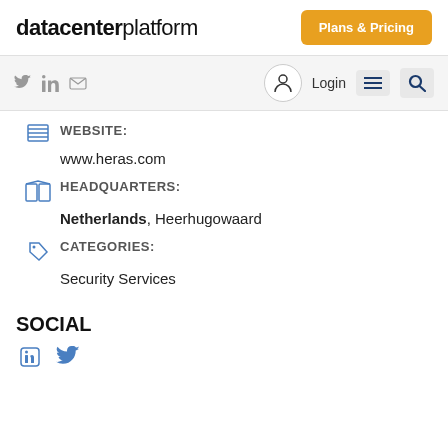datacenterplatform  Plans & Pricing
WEBSITE:
www.heras.com
HEADQUARTERS:
Netherlands, Heerhugowaard
CATEGORIES:
Security Services
SOCIAL